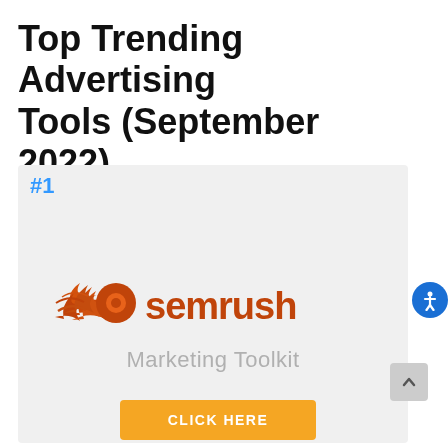Top Trending Advertising Tools (September 2022)
#1
[Figure (logo): Semrush logo: orange flame icon with stylized 'semrush' text in orange]
Marketing Toolkit
CLICK HERE